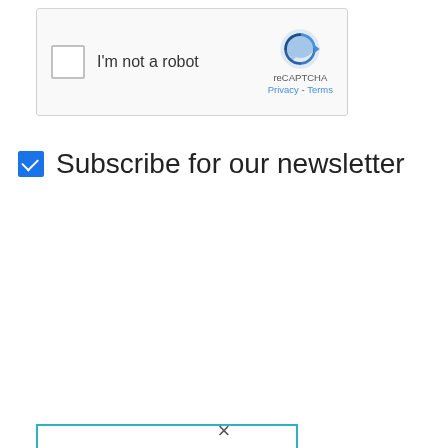[Figure (screenshot): reCAPTCHA widget with checkbox labeled 'I'm not a robot' and reCAPTCHA logo with Privacy - Terms links]
Subscribe for our newsletter
COMMENT
[Figure (illustration): Promotional banner for 'Ethical Hacking with Python' course. Title: 'Ethical Hacking with Python'. Subtitle: 'Build 20+ Tools from Scratch for Penetrating Testing using Python'. Dark background with code overlay.]
×